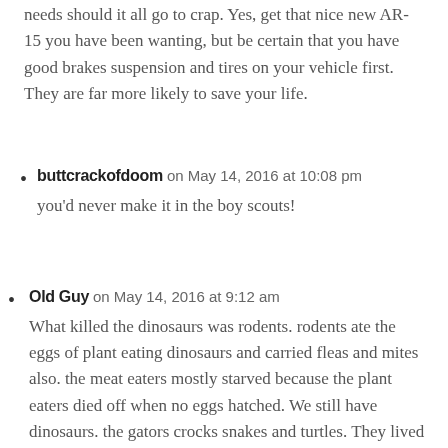needs should it all go to crap. Yes, get that nice new AR-15 you have been wanting, but be certain that you have good brakes suspension and tires on your vehicle first. They are far more likely to save your life.
buttcrackofdoom on May 14, 2016 at 10:08 pm
you'd never make it in the boy scouts!
Old Guy on May 14, 2016 at 9:12 am
What killed the dinosaurs was rodents. rodents ate the eggs of plant eating dinosaurs and carried fleas and mites also. the meat eaters mostly starved because the plant eaters died off when no eggs hatched. We still have dinosaurs. the gators crocks snakes and turtles. They lived in or near water and